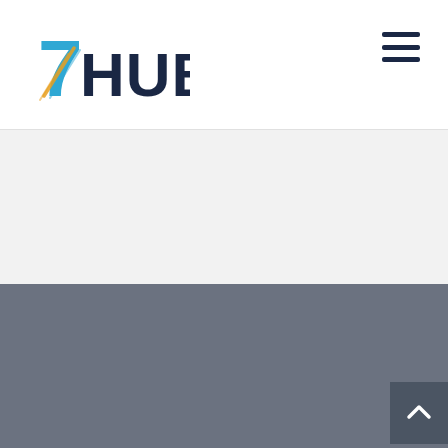7HUB logo and navigation header
[Figure (logo): 7HUB logo with stylized 7 in blue and gold highway lines, bold dark navy HUB text]
Hamburger menu icon (three horizontal lines)
[Figure (other): Light gray empty content area]
[Figure (other): Dark gray/slate lower section with scroll-to-top button in bottom right corner showing an upward chevron arrow]